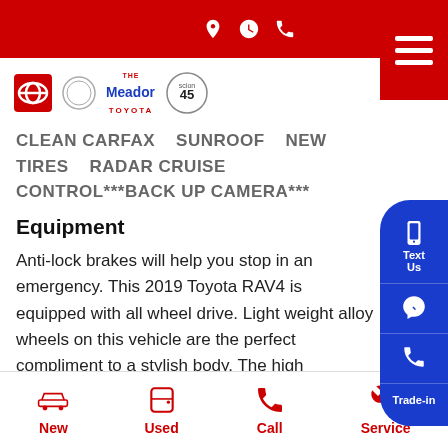Meador Toyota website header with navigation icons and hamburger menu
[Figure (logo): Toyota logo, dealership badge, Meador Toyota logo, 45 years badge]
CLEAN CARFAX   SUNROOF   NEW TIRES   RADAR CRUISE CONTROL***BACK UP CAMERA***
Equipment
Anti-lock brakes will help you stop in an emergency. This 2019 Toyota RAV4 is equipped with all wheel drive. Light weight alloy wheels on this vehicle are the perfect compliment to a stylish body. The high efficiency automatic transmission shifts smoothly and allows you to relax while driving. This small suv has an elegant black exter
New   Used   Call   Service